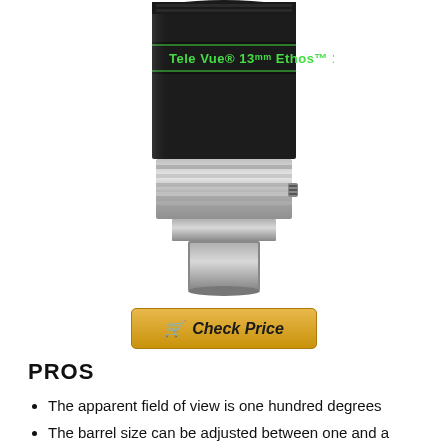[Figure (photo): Tele Vue 13mm Ethos 100-degree eyepiece with black barrel body with green label band reading 'Tele Vue 13mm Ethos 100' and silver metal lower barrel with adjustment ring]
Check Price
PROS
The apparent field of view is one hundred degrees
The barrel size can be adjusted between one and a